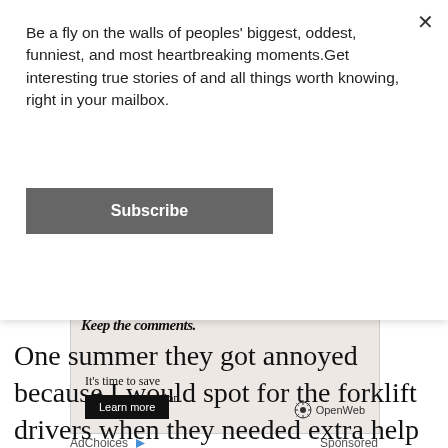Be a fly on the walls of peoples' biggest, oddest, funniest, and most heartbreaking moments.Get interesting true stories of and all things worth knowing, right in your mailbox.
Subscribe
[Figure (screenshot): Advertisement box with text 'Keep the comments.' partially visible at top, then 'It’s time to save online conversation.' with a 'Learn more' button and OpenWeb logo.]
AdChoices ▶  Sponsored
One summer they got annoyed because I would spot for the forklift drivers when they needed extra help getting large objects. Or to load skids